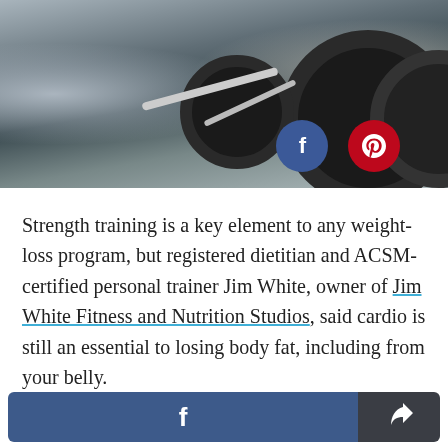[Figure (photo): Gym photo showing spinning/cycling bikes in a fitness studio, with Facebook and Pinterest circular share buttons overlaid on the bottom-right of the image]
Strength training is a key element to any weight-loss program, but registered dietitian and ACSM-certified personal trainer Jim White, owner of Jim White Fitness and Nutrition Studios, said cardio is still an essential to losing body fat, including from your belly.
Facebook share button and share/export button in bottom bar